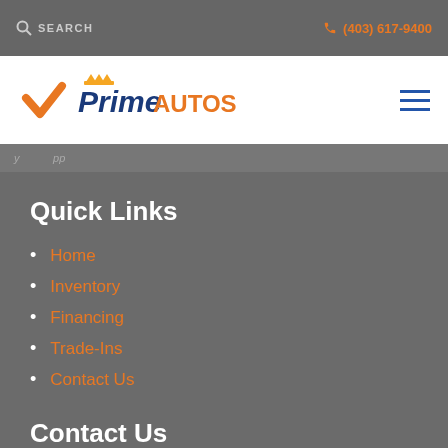SEARCH | (403) 617-9400
[Figure (logo): Prime Autos logo with orange checkmark and crown]
Quick Links
Home
Inventory
Financing
Trade-Ins
Contact Us
Contact Us